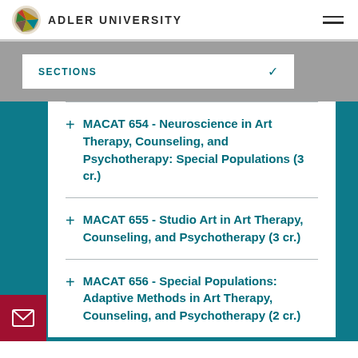ADLER UNIVERSITY
SECTIONS
MACAT 654 - Neuroscience in Art Therapy, Counseling, and Psychotherapy: Special Populations (3 cr.)
MACAT 655 - Studio Art in Art Therapy, Counseling, and Psychotherapy (3 cr.)
MACAT 656 - Special Populations: Adaptive Methods in Art Therapy, Counseling, and Psychotherapy (2 cr.)